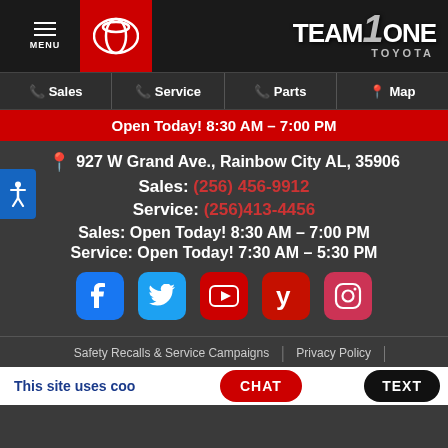MENU | Toyota logo | Team One Toyota logo
Sales | Service | Parts | Map
Open Today! 8:30 AM – 7:00 PM
927 W Grand Ave., Rainbow City AL, 35906
Sales: (256) 456-9912
Service: (256)413-4456
Sales: Open Today! 8:30 AM – 7:00 PM
Service: Open Today! 7:30 AM – 5:30 PM
[Figure (other): Social media icons: Facebook, Twitter, YouTube, Yelp, Instagram]
Safety Recalls & Service Campaigns | Privacy Policy
This site uses coo...
CHAT
TEXT